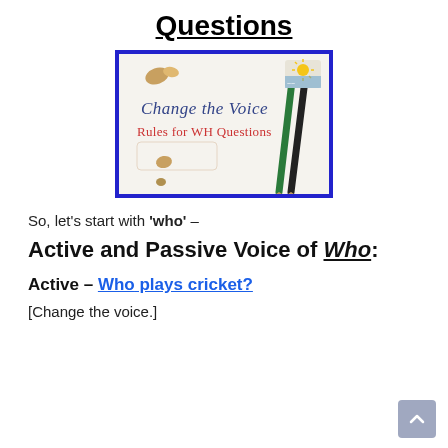Questions
[Figure (illustration): An educational thumbnail image with blue border showing the text 'Change the Voice Rules for WH Questions' in cursive and handwritten style, with pencils and decorative elements on a white background.]
So, let's start with 'who' –
Active and Passive Voice of Who:
Active – Who plays cricket?
[Change the voice.]